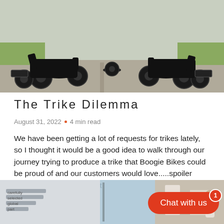[Figure (photo): Two black electric trikes/tricycles parked on a concrete driveway outdoors, facing each other, with grass in the background. Both have fat tires and cargo racks.]
The Trike Dilemma
August 31, 2022  •  4 min read
We have been getting a lot of requests for trikes lately, so I thought it would be a good idea to walk through our journey trying to produce a trike that Boogie Bikes could be proud of and our customers would love.....spoiler alert, we are not there yet!
[Figure (photo): Partial bottom image showing what appears to be a glass/window display with text 'carefully selected global part' visible on the left, and part of a storefront or showroom setting.]